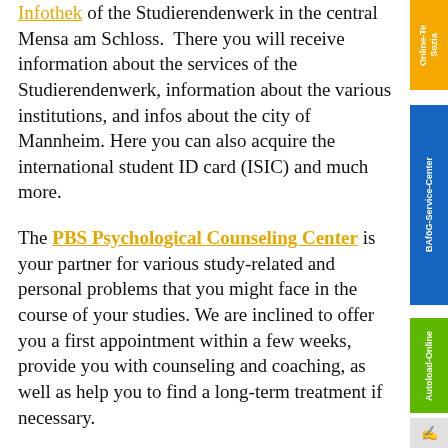Infothek of the Studierendenwerk in the central Mensa am Schloss. There you will receive information about the services of the Studierendenwerk, information about the various institutions, and infos about the city of Mannheim. Here you can also acquire the international student ID card (ISIC) and much more.
The PBS Psychological Counseling Center is your partner for various study-related and personal problems that you might face in the course of your studies. We are inclined to offer you a first appointment within a few weeks, provide you with counseling and coaching, as well as help you to find a long-term treatment if necessary.